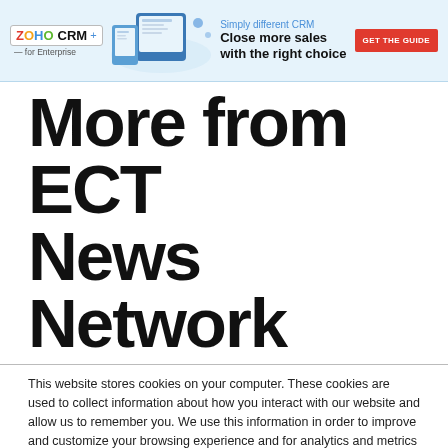[Figure (screenshot): Zoho CRM for Enterprise advertisement banner with logo, device illustration, tagline 'Simply different CRM – Close more sales with the right choice', and a red 'GET THE GUIDE' button]
More from ECT News Network
This website stores cookies on your computer. These cookies are used to collect information about how you interact with our website and allow us to remember you. We use this information in order to improve and customize your browsing experience and for analytics and metrics about our visitors both on this website and other media. To find out more about the cookies we use, see our Privacy Policy. California residents have the right to direct us not to sell their personal information to third parties by filing an Opt-Out Request: Do Not Sell My Personal Info.
Accept